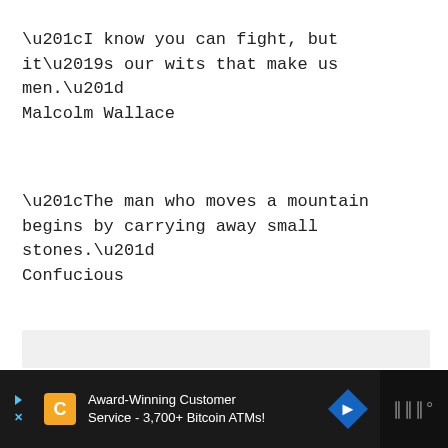“I know you can fight, but it’s our wits that make us men.”
Malcolm Wallace
“The man who moves a mountain begins by carrying away small stones.”
Confucious
[Figure (other): Advertisement bar at bottom: Award-Winning Customer Service - 3,700+ Bitcoin ATMs! with coinstar logo, navigation arrow icon, and streaming service logo on dark background.]